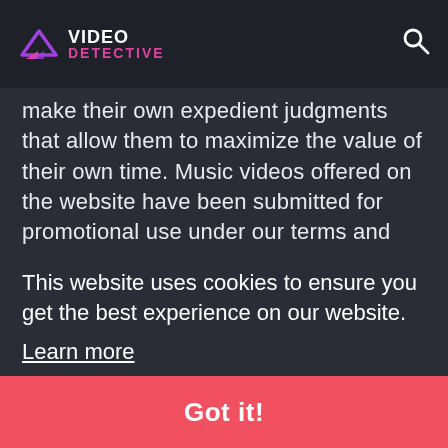VIDEO DETECTIVE
make their own expedient judgments that allow them to maximize the value of their own time. Music videos offered on the website have been submitted for promotional use under our terms and conditions by the copyright owner or their agents.
Video Detective will remove all content and subr subr prop agen upon purs ("DM
This website uses cookies to ensure you get the best experience on our website. Learn more
Got it!